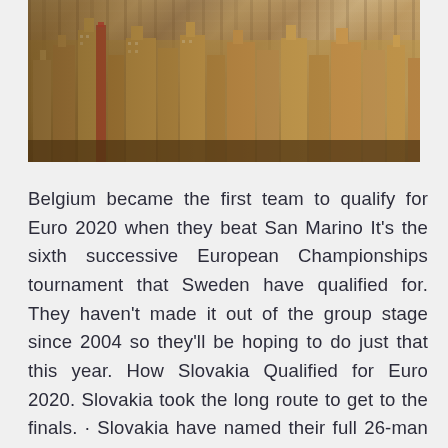[Figure (photo): Aerial view of a dense urban skyline with tall buildings, likely New York City, in warm sepia/golden tones]
Belgium became the first team to qualify for Euro 2020 when they beat San Marino It's the sixth successive European Championships tournament that Sweden have qualified for. They haven't made it out of the group stage since 2004 so they'll be hoping to do just that this year. How Slovakia Qualified for Euro 2020. Slovakia took the long route to get to the finals. · Slovakia have named their full 26-man squad for Euro 2020 this coming summer. Marek Hamsik and Martin Dubravka are the standout names, while former Manchester City man Vladimir Weiss is also in. Jun 08